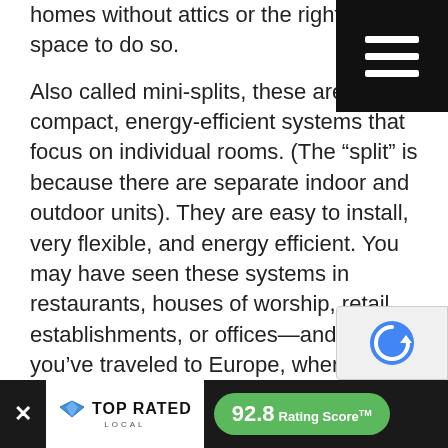homes without attics or the right closet space to do so.
Also called mini-splits, these are compact, energy-efficient systems that focus on individual rooms. (The “split” is because there are separate indoor and outdoor units). They are easy to install, very flexible, and energy efficient. You may have seen these systems in restaurants, houses of worship, retail establishments, or offices—and if you’ve traveled to Europe, where these systems are popular, you’re likely to have seen them in many places and spaces.
How ductless HVAC systems work
The system uses two-way heat pump technology to distribute warm or cool air, and it does so much better than a traditional electric heater. has two components, an indoor air-handling unit and an exterior condenser or compressor. These variable speed compressors use inverter technology cooling load. The